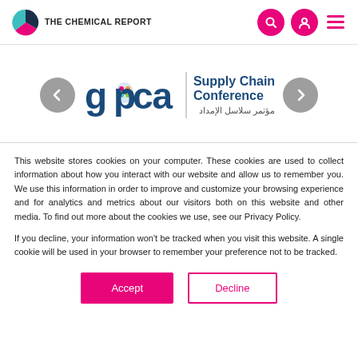THE CHEMICAL REPORT
[Figure (logo): GPCA Supply Chain Conference logo with Arabic subtitle مؤتمر سلاسل الإمداد, with left/right navigation arrows]
This website stores cookies on your computer. These cookies are used to collect information about how you interact with our website and allow us to remember you. We use this information in order to improve and customize your browsing experience and for analytics and metrics about our visitors both on this website and other media. To find out more about the cookies we use, see our Privacy Policy.
If you decline, your information won't be tracked when you visit this website. A single cookie will be used in your browser to remember your preference not to be tracked.